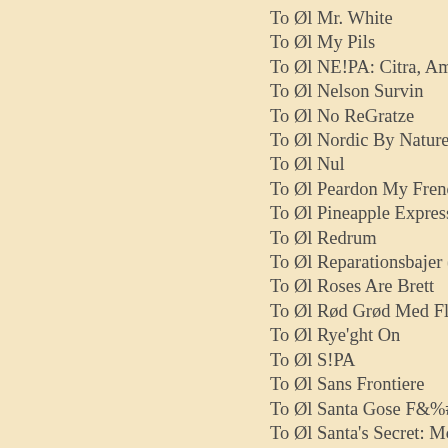To Øl Mr. White
To Øl My Pils
To Øl NE!PA: Citra, Amarillo,
To Øl Nelson Survin
To Øl No ReGratze
To Øl Nordic By Nature
To Øl Nul
To Øl Peardon My French
To Øl Pineapple Express
To Øl Redrum
To Øl Reparationsbajer (Dire
To Øl Roses Are Brett
To Øl Rød Grød Med Fløð Fr
To Øl Rye'ght On
To Øl S!PA
To Øl Sans Frontiere
To Øl Santa Gose F&%# It Al
To Øl Santa's Secret: Mocha
To Øl Sesson
To Øl Shameless Santa
To Øl Simple Life
To Øl Slap Yourself Silly
To Øl Smoke On The Porter